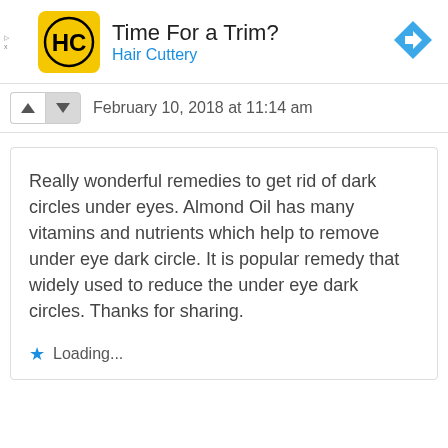[Figure (logo): Hair Cuttery advertisement banner with HC logo, title 'Time For a Trim?' and subtitle 'Hair Cuttery', with a blue navigation arrow icon on the right]
February 10, 2018 at 11:14 am
Really wonderful remedies to get rid of dark circles under eyes. Almond Oil has many vitamins and nutrients which help to remove under eye dark circle. It is popular remedy that widely used to reduce the under eye dark circles. Thanks for sharing.
Loading...